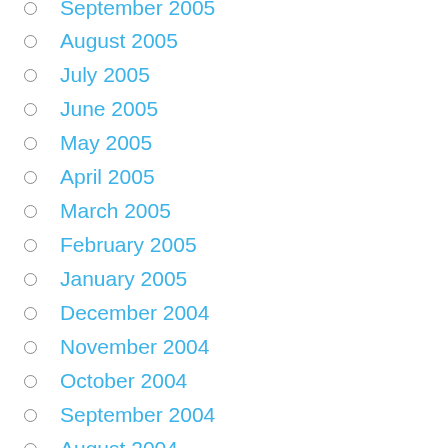September 2005
August 2005
July 2005
June 2005
May 2005
April 2005
March 2005
February 2005
January 2005
December 2004
November 2004
October 2004
September 2004
August 2004
July 2004
March 2004